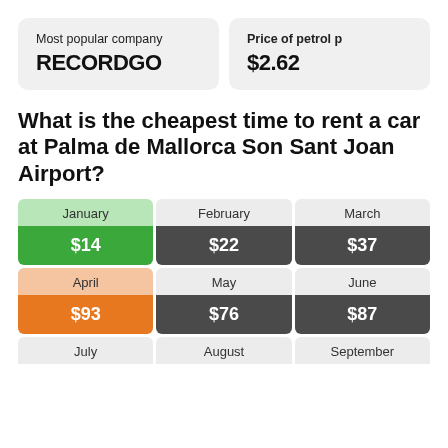Most popular company
RECORDGO
Price of petrol p
$2.62
What is the cheapest time to rent a car at Palma de Mallorca Son Sant Joan Airport?
| Month | Price |
| --- | --- |
| January | $14 |
| February | $22 |
| March | $37 |
| April | $93 |
| May | $76 |
| June | $87 |
| July |  |
| August |  |
| September |  |